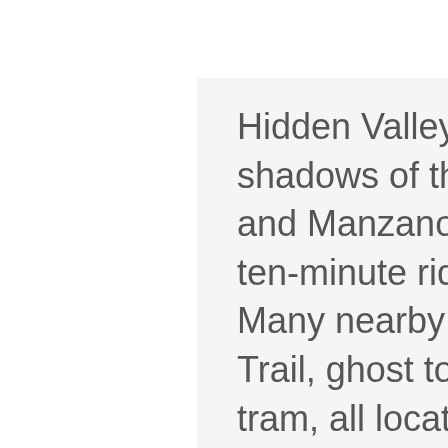Hidden Valley Resort is located in the shadows of the magnificent Sandia and Manzano Mountain ranges just a ten-minute ride from Albuquerque. Many nearby attractions: Turquoise Trail, ghost towns and ski area and tram, all located in the Sandia Mountains. In Albuquerque, attractions include: Old Town, zoo, aquarium, botanical gardens and various museums. Albuquerque's western ridge reveals a history page of petroglyphs, volcano cliffs and the Folsom Man Site. There are many Indian Pueblos, casinos and ruins to be visited